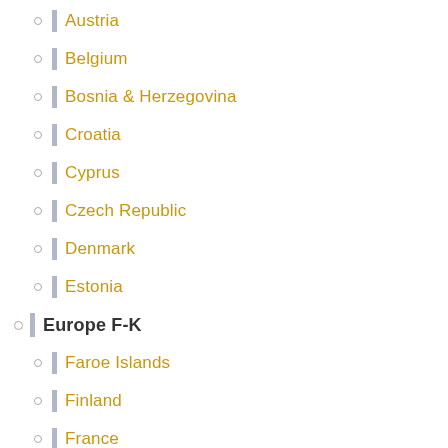Austria
Belgium
Bosnia & Herzegovina
Croatia
Cyprus
Czech Republic
Denmark
Estonia
Europe F-K
Faroe Islands
Finland
France
Germany
Gibraltar
Greece
Hungary
Iceland
Ireland